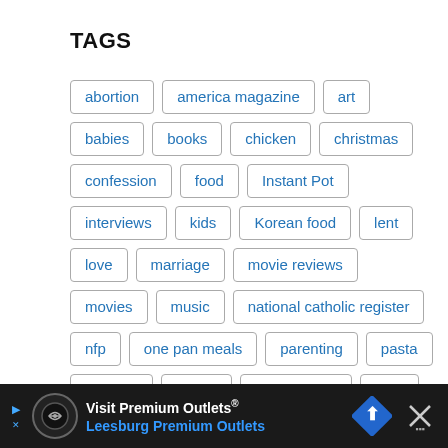TAGS
abortion
america magazine
art
babies
books
chicken
christmas
confession
food
Instant Pot
interviews
kids
Korean food
lent
love
marriage
movie reviews
movies
music
national catholic register
nfp
one pan meals
parenting
pasta
podcast
poetry
pope francis
pork
Visit Premium Outlets® Leesburg Premium Outlets